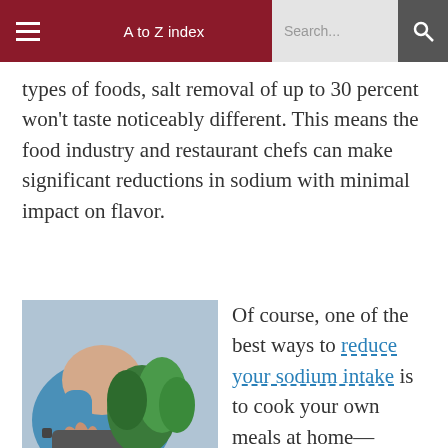A to Z index | Search...
types of foods, salt removal of up to 30 percent won't taste noticeably different. This means the food industry and restaurant chefs can make significant reductions in sodium with minimal impact on flavor.
[Figure (photo): Person adding fresh herbs to a pot while cooking, wearing a blue top, with green herbs visible]
Of course, one of the best ways to reduce your sodium intake is to cook your own meals at home—focusing on fresh and unprocessed